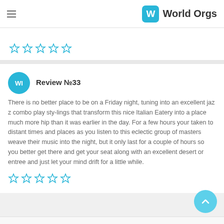World Orgs
Review №33
There is no better place to be on a Friday night, tuning into an excellent jaz z combo play sty-lings that transform this nice Italian Eatery into a place much more hip than it was earlier in the day. For a few hours your taken to distant times and places as you listen to this eclectic group of masters weave their music into the night, but it only last for a couple of hours so you better get there and get your seat along with an excellent desert or entree and just let your mind drift for a little while.